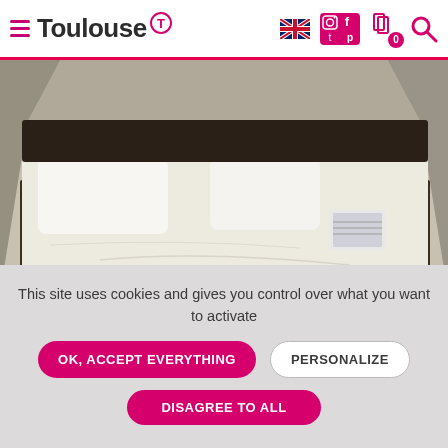Toulouse
[Figure (photo): Hotel room with a large white bed with white pillows, viewed from the foot of the bed. Room has dark flooring and neutral walls.]
IBIS BUDGET TOULOUSE CENTRE GARE
TOULOUSE
This site uses cookies and gives you control over what you want to activate
OK, ACCEPT EVERYTHING
PERSONALIZE
DISAGREE TO ALL